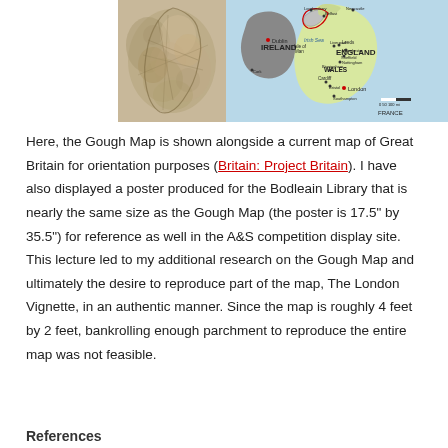[Figure (map): Two maps side by side: left is the Gough Map (antique parchment map of Britain), right is a modern map of Great Britain and Ireland showing countries, cities, and geographic labels including Ireland, Wales, England, France, Isle of Man, Irish Sea, and cities such as Dublin, London, Liverpool, Manchester, Birmingham, Cardiff, Bristol, Southampton, Newcastle, Leeds, Sheffield, Nottingham, Cork, Londonderry, Belfast.]
Here, the Gough Map is shown alongside a current map of Great Britain for orientation purposes (Britain: Project Britain). I have also displayed a poster produced for the Bodleain Library that is nearly the same size as the Gough Map (the poster is 17.5" by 35.5") for reference as well in the A&S competition display site. This lecture led to my additional research on the Gough Map and ultimately the desire to reproduce part of the map, The London Vignette, in an authentic manner. Since the map is roughly 4 feet by 2 feet, bankrolling enough parchment to reproduce the entire map was not feasible.
References